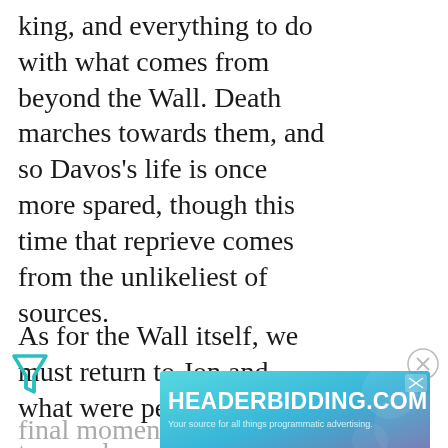king, and everything to do with what comes from beyond the Wall. Death marches towards them, and so Davos's life is once more spared, though this time that reprieve comes from the unlikeliest of sources.
As for the Wall itself, we must return to Jon and what were perhaps his final moments with Ygritte,
[Figure (other): Green triangle filter/funnel icon on the left side]
[Figure (other): Close/X circle button on the right side]
[Figure (other): HEADERBIDDING.COM advertisement banner with teal/purple gradient background. Text: HEADERBIDDING.COM — Your source for all things programmatic advertising.]
true and genuine, and